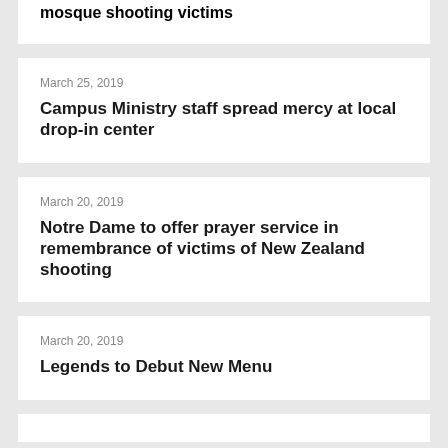mosque shooting victims
March 25, 2019
Campus Ministry staff spread mercy at local drop-in center
March 20, 2019
Notre Dame to offer prayer service in remembrance of victims of New Zealand shooting
March 20, 2019
Legends to Debut New Menu